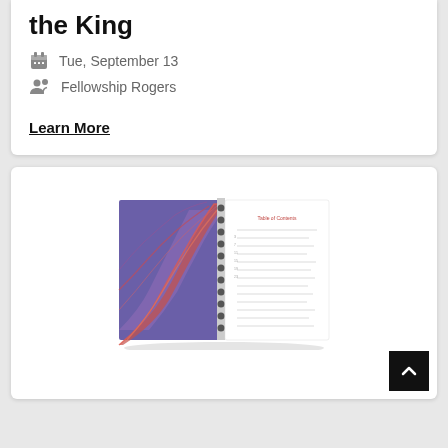the King
Tue, September 13
Fellowship Rogers
Learn More
[Figure (photo): Open spiral-bound book with a colorful wavy abstract purple and coral/red cover on the left page and a white table of contents page on the right side.]